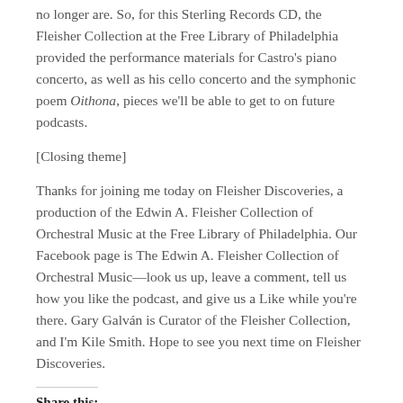no longer are. So, for this Sterling Records CD, the Fleisher Collection at the Free Library of Philadelphia provided the performance materials for Castro's piano concerto, as well as his cello concerto and the symphonic poem Oithona, pieces we'll be able to get to on future podcasts.
[Closing theme]
Thanks for joining me today on Fleisher Discoveries, a production of the Edwin A. Fleisher Collection of Orchestral Music at the Free Library of Philadelphia. Our Facebook page is The Edwin A. Fleisher Collection of Orchestral Music—look us up, leave a comment, tell us how you like the podcast, and give us a Like while you're there. Gary Galván is Curator of the Fleisher Collection, and I'm Kile Smith. Hope to see you next time on Fleisher Discoveries.
Share this: